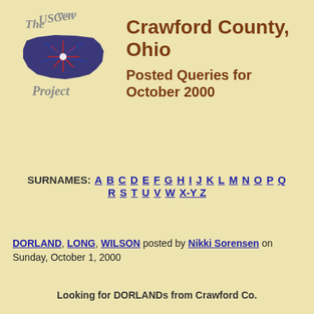[Figure (logo): USGenWeb Project logo with map of USA with fireworks/stars, text 'The USGenWeb Project' in italic gray lettering]
Crawford County, Ohio
Posted Queries for October 2000
SURNAMES: A B C D E F G H I J K L M N O P Q R S T U V W X-Y Z
DORLAND, LONG, WILSON posted by Nikki Sorensen on Sunday, October 1, 2000
Looking for DORLANDs from Crawford Co.